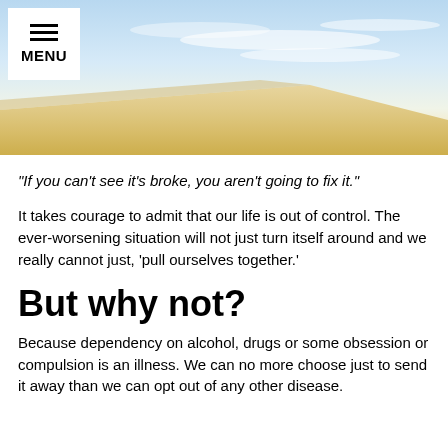[Figure (photo): A scenic banner image of a sky with soft clouds and a warm horizon gradient of blue, white, and golden-yellow tones.]
MENU
“If you can’t see it’s broke, you aren’t going to fix it.”
It takes courage to admit that our life is out of control. The ever-worsening situation will not just turn itself around and we really cannot just, ‘pull ourselves together.’
But why not?
Because dependency on alcohol, drugs or some obsession or compulsion is an illness. We can no more choose just to send it away than we can opt out of any other disease.